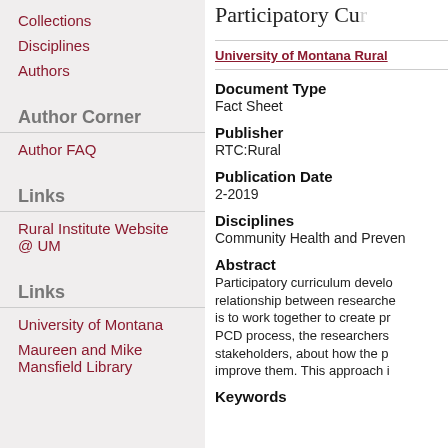Collections
Disciplines
Authors
Author Corner
Author FAQ
Links
Rural Institute Website @ UM
Links
University of Montana
Maureen and Mike Mansfield Library
Participatory Cur...
University of Montana Rural...
Document Type
Fact Sheet
Publisher
RTC:Rural
Publication Date
2-2019
Disciplines
Community Health and Preven...
Abstract
Participatory curriculum develo... relationship between researche... is to work together to create pr... PCD process, the researchers... stakeholders, about how the p... improve them. This approach i...
Keywords